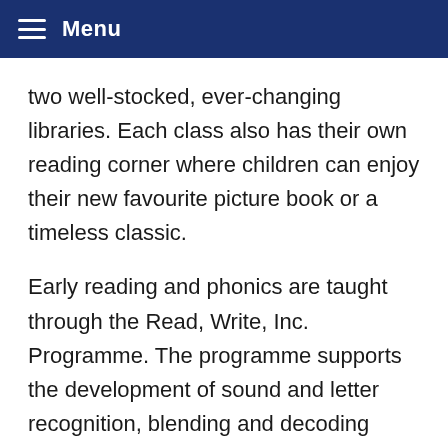Menu
two well-stocked, ever-changing libraries. Each class also has their own reading corner where children can enjoy their new favourite picture book or a timeless classic.
Early reading and phonics are taught through the Read, Write, Inc. Programme. The programme supports the development of sound and letter recognition, blending and decoding through fun, creative activities. Guidance for parents and carers to support their